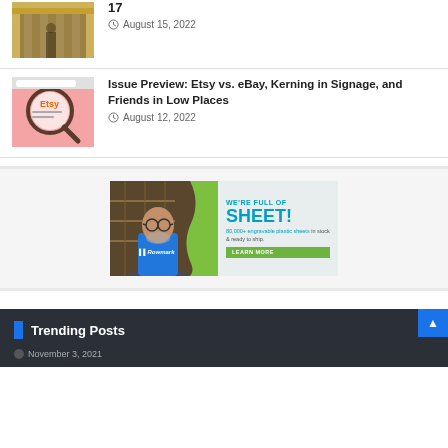17
August 15, 2022
[Figure (photo): Thumbnail photo of a building with yellow columns]
[Figure (photo): Thumbnail photo of Etsy website shown through magnifying glass on pink background]
Issue Preview: Etsy vs. eBay, Kerning in Signage, and Friends in Low Places
August 12, 2022
[Figure (photo): Rowmark advertisement banner: man in blue Rowmark shirt standing in warehouse. Text: WE'RE FULL OF SHEET! 80,000+ engravable plastic sheets in stock & ready to ship. LEARN MORE]
Trending Posts
November 3, 2021